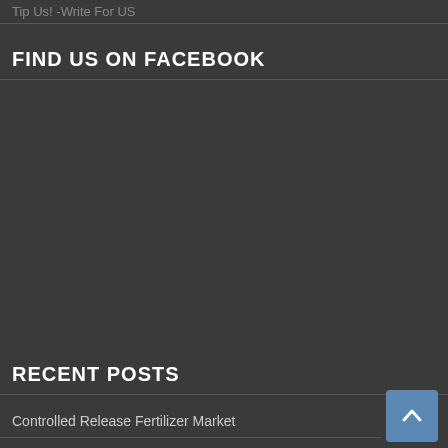Tip Us! -Write For US
FIND US ON FACEBOOK
[Figure (other): Facebook widget placeholder area — dark background, no content loaded]
RECENT POSTS
Controlled Release Fertilizer Market
[Figure (other): Scroll to top button — blue square with upward chevron arrow]